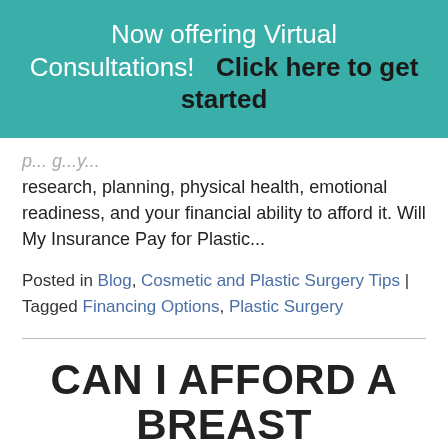Now offering Virtual Consultations!   Click here to get started
research, planning, physical health, emotional readiness, and your financial ability to afford it. Will My Insurance Pay for Plastic...
Posted in Blog, Cosmetic and Plastic Surgery Tips | Tagged Financing Options, Plastic Surgery
CAN I AFFORD A BREAST AUGMENTATION?
Posted on August 8, 2018 by The Body Sculpting...